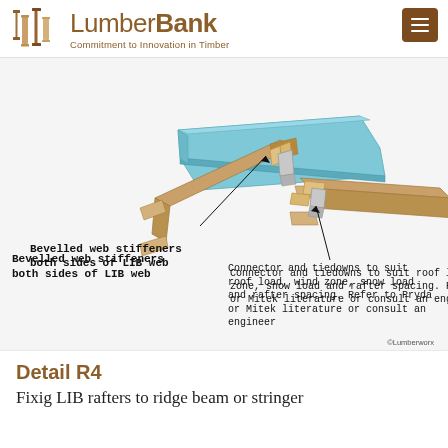LumberBank — Commitment to Innovation in Timber
[Figure (engineering-diagram): 3D illustration of LIB (Laminated I-Beam) rafters connecting to a ridge beam or stringer. Shows two timber LIB rafters meeting at a steel/blue ridge beam, with bevelled web stiffeners on both sides of the LIB web, and connector and tiedown hardware at the junction. Callout arrows point to key connection details.]
Bevelled web stiffeners both sides of LIB web
Connector and tiedowns to suit roof load, wind zone, snow load and rafter spacing. Refer to Pryda or Mitek literature or consult an engineer
©Lumberworx
Detail R4
Fixig LIB rafters to ridge beam or stringer